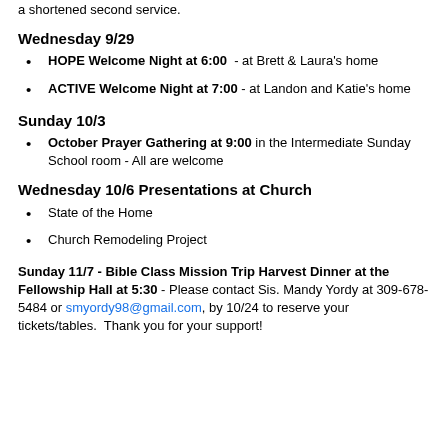a shortened second service.
Wednesday 9/29
HOPE Welcome Night at 6:00 - at Brett & Laura's home
ACTIVE Welcome Night at 7:00 - at Landon and Katie's home
Sunday 10/3
October Prayer Gathering at 9:00 in the Intermediate Sunday School room - All are welcome
Wednesday 10/6 Presentations at Church
State of the Home
Church Remodeling Project
Sunday 11/7 - Bible Class Mission Trip Harvest Dinner at the Fellowship Hall at 5:30 - Please contact Sis. Mandy Yordy at 309-678-5484 or smyordy98@gmail.com, by 10/24 to reserve your tickets/tables. Thank you for your support!